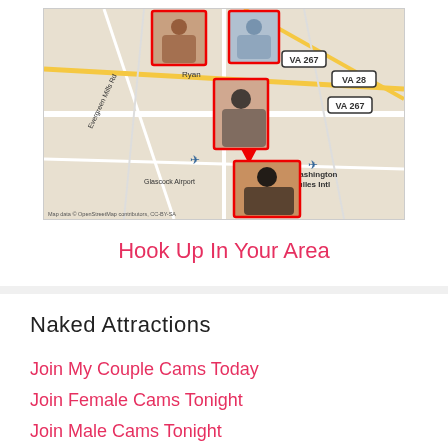[Figure (map): A street map showing the Dulles/Northern Virginia area with profile photos of people pinned to map locations. Map shows roads including VA 267, VA 28, Evergreen Mills Rd, Glascock Airport, Washington Dulles Intl Airport. Map data credited to OpenStreetMap contributors, CC-BY-SA.]
Hook Up In Your Area
Naked Attractions
Join My Couple Cams Today
Join Female Cams Tonight
Join Male Cams Tonight